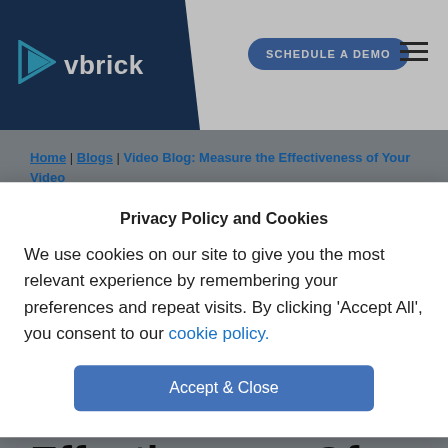vbrick | SCHEDULE A DEMO
Home | Blogs | Video Blog: Measure the Effectiveness of Your Video Strategy With Analytics
Privacy Policy and Cookies
We use cookies on our site to give you the most relevant experience by remembering your preferences and repeat visits. By clicking ‘Accept All’, you consent to our cookie policy.
Accept & Close
Video Blog: Measure The Effectiveness Of Your Video Strategy With Analytics